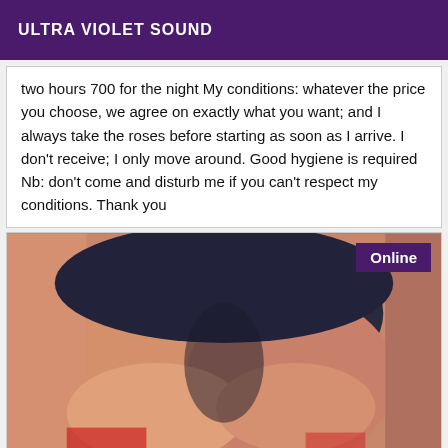ULTRA VIOLET SOUND
two hours 700 for the night My conditions: whatever the price you choose, we agree on exactly what you want; and I always take the roses before starting as soon as I arrive. I don't receive; I only move around. Good hygiene is required Nb: don't come and disturb me if you can't respect my conditions. Thank you
[Figure (photo): Close-up photo of a person wearing dark underwear, Online badge in top-right corner]
A dream come true